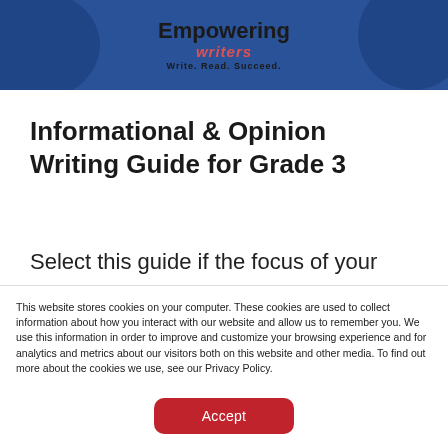[Figure (logo): Empowering Writers logo with tagline 'Write. Read. Succeed.' on a blue banner background]
Informational & Opinion Writing Guide for Grade 3
Select this guide if the focus of your
This website stores cookies on your computer. These cookies are used to collect information about how you interact with our website and allow us to remember you. We use this information in order to improve and customize your browsing experience and for analytics and metrics about our visitors both on this website and other media. To find out more about the cookies we use, see our Privacy Policy.
Accept